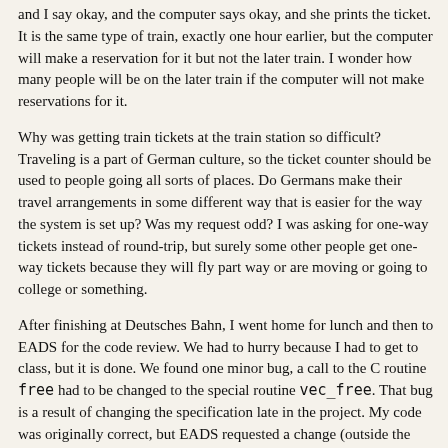and I say okay, and the computer says okay, and she prints the ticket. It is the same type of train, exactly one hour earlier, but the computer will make a reservation for it but not the later train. I wonder how many people will be on the later train if the computer will not make reservations for it.
Why was getting train tickets at the train station so difficult? Traveling is a part of German culture, so the ticket counter should be used to people going all sorts of places. Do Germans make their travel arrangements in some different way that is easier for the way the system is set up? Was my request odd? I was asking for one-way tickets instead of round-trip, but surely some other people get one-way tickets because they will fly part way or are moving or going to college or something.
After finishing at Deutsches Bahn, I went home for lunch and then to EADS for the code review. We had to hurry because I had to get to class, but it is done. We found one minor bug, a call to the C routine free had to be changed to the special routine vec_free. That bug is a result of changing the specification late in the project. My code was originally correct, but EADS requested a change (outside the contract), and uncontrolled things like that lead to problems. Martin has some paperwork to finish as a result, but my part in the FFT work should be done, except for collecting the money.